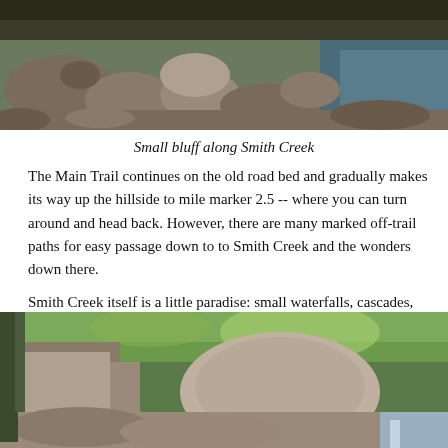[Figure (photo): Photograph of a small bluff along Smith Creek, showing large rocks and boulders along a rocky creek bed with blue water visible on the right side.]
Small bluff along Smith Creek
The Main Trail continues on the old road bed and gradually makes its way up the hillside to mile marker 2.5 -- where you can turn around and head back. However, there are many marked off-trail paths for easy passage down to to Smith Creek and the wonders down there.
Smith Creek itself is a little paradise: small waterfalls, cascades, huge rock jumbles just new beauty with every step.
[Figure (photo): Photograph of Smith Creek showing large rock formations, boulders, and lush green forest canopy above, with a small waterfall visible in the lower right.]